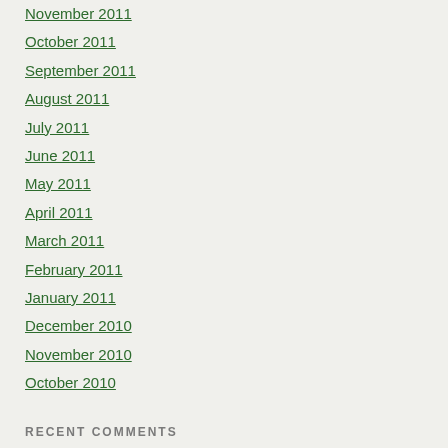November 2011
October 2011
September 2011
August 2011
July 2011
June 2011
May 2011
April 2011
March 2011
February 2011
January 2011
December 2010
November 2010
October 2010
RECENT COMMENTS
[Figure (illustration): Small envelope/mail icon in green]